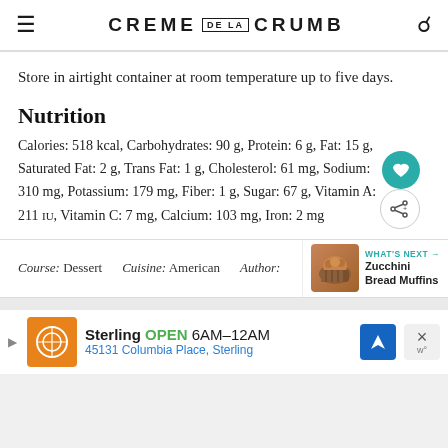CREME DE LA CRUMB
Store in airtight container at room temperature up to five days.
Nutrition
Calories: 518 kcal, Carbohydrates: 90 g, Protein: 6 g, Fat: 15 g, Saturated Fat: 2 g, Trans Fat: 1 g, Cholesterol: 61 mg, Sodium: 310 mg, Potassium: 179 mg, Fiber: 1 g, Sugar: 67 g, Vitamin A: 211 IU, Vitamin C: 7 mg, Calcium: 103 mg, Iron: 2 mg
Course: Dessert   Cuisine: American   Author:
WHAT'S NEXT → Zucchini Bread Muffins
Sterling OPEN 6AM–12AM 45131 Columbia Place, Sterling